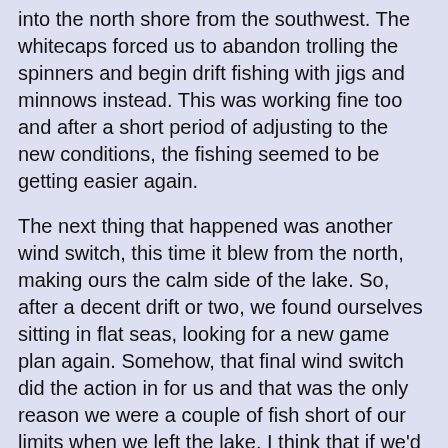into the north shore from the southwest. The whitecaps forced us to abandon trolling the spinners and begin drift fishing with jigs and minnows instead. This was working fine too and after a short period of adjusting to the new conditions, the fishing seemed to be getting easier again.
The next thing that happened was another wind switch, this time it blew from the north, making ours the calm side of the lake. So, after a decent drift or two, we found ourselves sitting in flat seas, looking for a new game plan again. Somehow, that final wind switch did the action in for us and that was the only reason we were a couple of fish short of our limits when we left the lake. I think that if we'd stayed longer, we'd have gotten another chance, but with a long drive and another fishing day ahead of us, we opted to get off the lake instead.
The key depth range for us was about 5 feet of water and right now on the north shore, that occurs right up against the bulrush patches. Most years, those bulrushes are in much shallower water, so fishing in and around them isn't really “a thing”. This year though, they are holding fish and if you recall, I mentioned catching pike in them a few weeks ago. There were still pike in the area yesterday and Justin bagged a crappie there too. Some perch, not too big, were drifting around in the area as well. Sheepshead, to my surprise